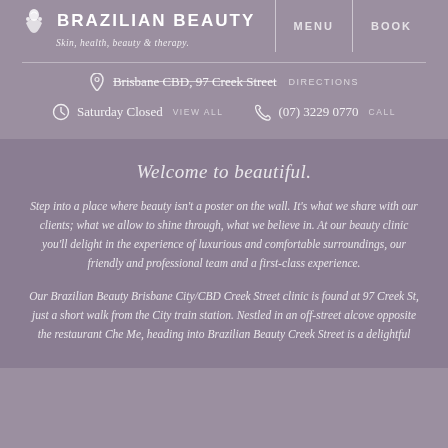BRAZILIAN BEAUTY — Skin, health, beauty & therapy.
Brisbane CBD, 97 Creek Street DIRECTIONS
Saturday Closed VIEW ALL   (07) 3229 0770 CALL
Welcome to beautiful.
Step into a place where beauty isn't a poster on the wall. It's what we share with our clients; what we allow to shine through, what we believe in. At our beauty clinic you'll delight in the experience of luxurious and comfortable surroundings, our friendly and professional team and a first-class experience.
Our Brazilian Beauty Brisbane City/CBD Creek Street clinic is found at 97 Creek St, just a short walk from the City train station. Nestled in an off-street alcove opposite the restaurant Che Me, heading into Brazilian Beauty Creek Street is a delightful